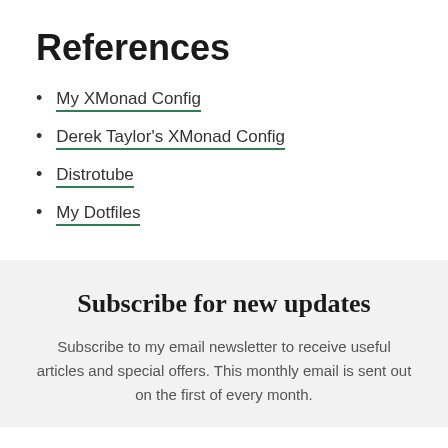References
My XMonad Config
Derek Taylor's XMonad Config
Distrotube
My Dotfiles
Subscribe for new updates
Subscribe to my email newsletter to receive useful articles and special offers. This monthly email is sent out on the first of every month.